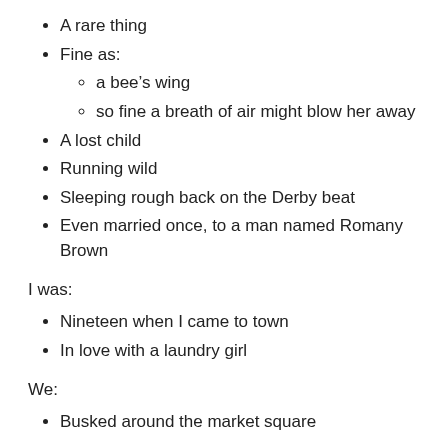A rare thing
Fine as:
a bee’s wing
so fine a breath of air might blow her away
A lost child
Running wild
Sleeping rough back on the Derby beat
Even married once, to a man named Romany Brown
I was:
Nineteen when I came to town
In love with a laundry girl
We:
Busked around the market square